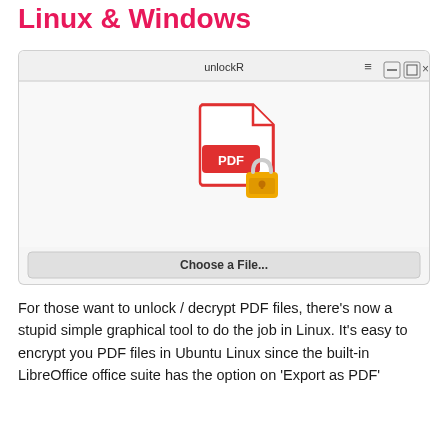Linux & Windows
[Figure (screenshot): Screenshot of unlockR application window showing a PDF file icon with a padlock, and a 'Choose a File...' button at the bottom.]
For those want to unlock / decrypt PDF files, there's now a stupid simple graphical tool to do the job in Linux. It's easy to encrypt you PDF files in Ubuntu Linux since the built-in LibreOffice office suite has the option on 'Export as PDF'